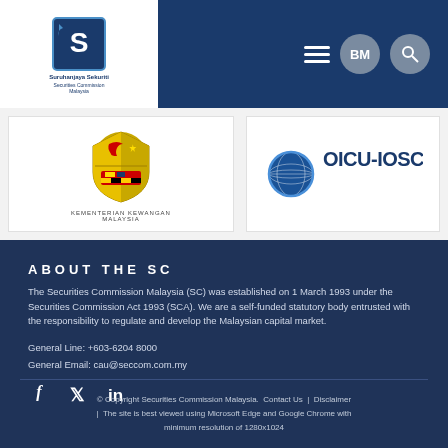[Figure (logo): Securities Commission Malaysia logo in white box on dark blue nav bar]
[Figure (logo): Kementerian Kewangan Malaysia coat of arms logo]
[Figure (logo): OICU-IOSCO logo with globe icon]
ABOUT THE SC
The Securities Commission Malaysia (SC) was established on 1 March 1993 under the Securities Commission Act 1993 (SCA). We are a self-funded statutory body entrusted with the responsibility to regulate and develop the Malaysian capital market.
General Line: +603-6204 8000
General Email: cau@seccom.com.my
[Figure (other): Social media icons: Facebook, Twitter, LinkedIn]
© Copyright Securities Commission Malaysia.  Contact Us  |  Disclaimer  |  The site is best viewed using Microsoft Edge and Google Chrome with minimum resolution of 1280x1024